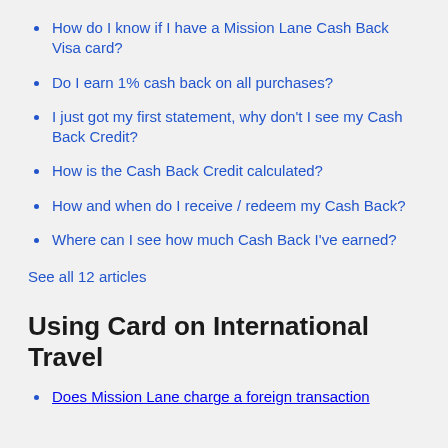How do I know if I have a Mission Lane Cash Back Visa card?
Do I earn 1% cash back on all purchases?
I just got my first statement, why don't I see my Cash Back Credit?
How is the Cash Back Credit calculated?
How and when do I receive / redeem my Cash Back?
Where can I see how much Cash Back I've earned?
See all 12 articles
Using Card on International Travel
Does Mission Lane charge a foreign transaction